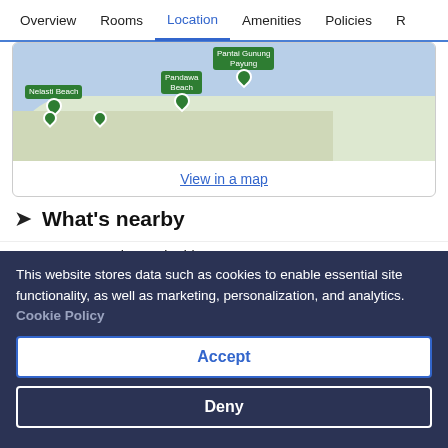Overview  Rooms  Location  Amenities  Policies  R
[Figure (map): Map showing coastal area near Bali with green location pins marking Pandawa Beach, Nelasti Beach, and Pantai Gunung Payung]
View in a map
What's nearby
Geger Beach - 9 min drive
Bali National Golf Club - 9 min drive
Bali Collection Shopping Center - (partially visible)
This website stores data such as cookies to enable essential site functionality, as well as marketing, personalization, and analytics. Cookie Policy
Accept
Deny